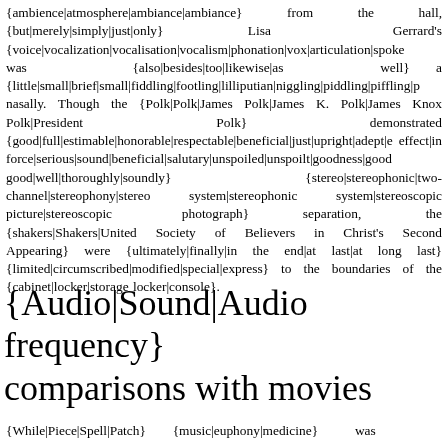{ambience|atmosphere|ambiance|ambiance} from the hall, {but|merely|simply|just|only} Lisa Gerrard's {voice|vocalization|vocalisation|vocalism|phonation|vox|articulation|spoke was {also|besides|too|likewise|as well} a {little|small|brief|small|fiddling|footling|lilliputian|niggling|piddling|piffling|p nasally. Though the {Polk|Polk|James Polk|James K. Polk|James Knox Polk|President Polk} demonstrated {good|full|estimable|honorable|respectable|beneficial|just|upright|adept|e effect|in force|serious|sound|beneficial|salutary|unspoiled|unspoilt|goodness|good good|well|thoroughly|soundly} {stereo|stereophonic|two-channel|stereophony|stereo system|stereophonic system|stereoscopic picture|stereoscopic photograph} separation, the {shakers|Shakers|United Society of Believers in Christ's Second Appearing} were {ultimately|finally|in the end|at last|at long last} {limited|circumscribed|modified|special|express} to the boundaries of the {cabinet|locker|storage locker|console}.
{Audio|Sound|Audio frequency} comparisons with movies
{While|Piece|Spell|Patch} {music|euphony|medicine} was